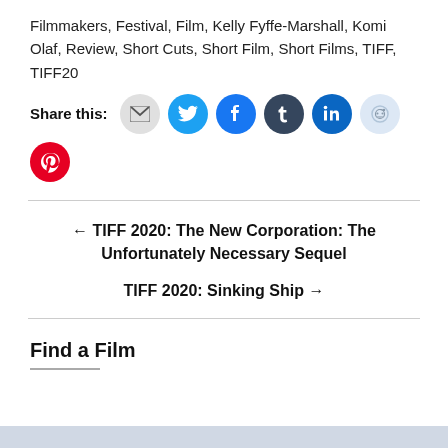Filmmakers, Festival, Film, Kelly Fyffe-Marshall, Komi Olaf, Review, Short Cuts, Short Film, Short Films, TIFF, TIFF20
Share this: [email] [twitter] [facebook] [tumblr] [linkedin] [reddit] [pinterest]
← TIFF 2020: The New Corporation: The Unfortunately Necessary Sequel
TIFF 2020: Sinking Ship →
Find a Film